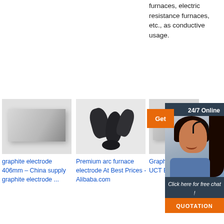furnaces, electric resistance furnaces, etc., as conductive usage.
[Figure (screenshot): 24/7 online chat widget with woman wearing headset, dark navy background, orange Get button, Click here for free chat text, QUOTATION orange button]
[Figure (photo): Graphite electrode block - grey rectangular block]
graphite electrode 406mm – China supply graphite electrode ...
[Figure (photo): Premium arc furnace electrode - multiple black shaped electrodes]
Premium arc furnace electrode At Best Prices - Alibaba.com
The UHP (ultra-
[Figure (photo): Graphite Electrodes - partial grey image]
Graphite Electrodes – UCT Electrodes International
Choice of